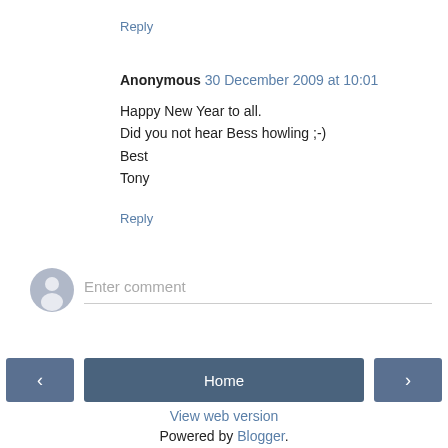Reply
Anonymous 30 December 2009 at 10:01
Happy New Year to all.
Did you not hear Bess howling ;-)
Best
Tony
Reply
[Figure (other): User avatar placeholder circle with person silhouette icon]
Enter comment
< Home >
View web version
Powered by Blogger.